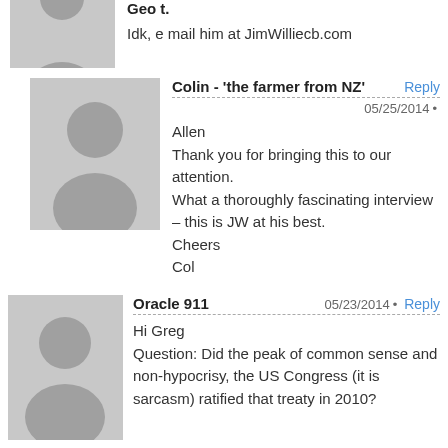Geo t.
Idk, e mail him at JimWilliecb.com
Colin - 'the farmer from NZ'
05/25/2014
Allen
Thank you for bringing this to our attention.
What a thoroughly fascinating interview – this is JW at his best.
Cheers
Col
Oracle 911
05/23/2014
Hi Greg
Question: Did the peak of common sense and non-hypocrisy, the US Congress (it is sarcasm) ratified that treaty in 2010?